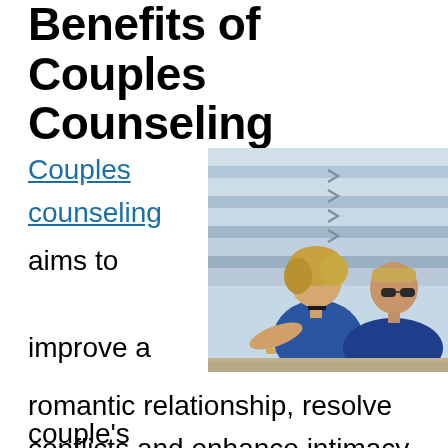Benefits of Couples Counseling
Couples counseling aims to improve a couple's romantic relationship, resolve conflicts and enhance intimacy. The aim is to create a better emotional climate in a relationship. The therapy focuses on improving romantic and
[Figure (photo): A couple sitting together outdoors with a striped background wall. A woman with short blonde hair and a man with sunglasses, both wearing blue clothing.]